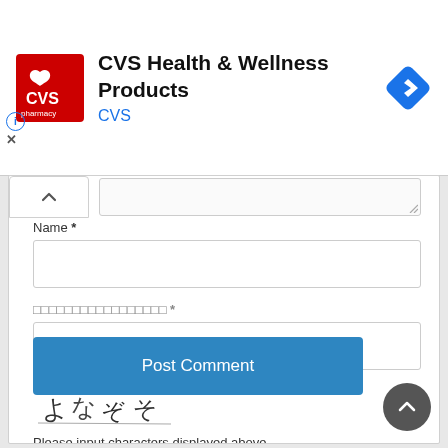[Figure (logo): CVS Health & Wellness Products advertisement banner with CVS pharmacy red logo on left, title text, and blue navigation diamond icon on right]
CVS Health & Wellness Products
CVS
Name *
□□□□□□□□□□□□□□□□□ *
[Figure (illustration): Handwritten captcha image showing Japanese-style characters: よなぞそ]
Please input characters displayed above.
Post Comment